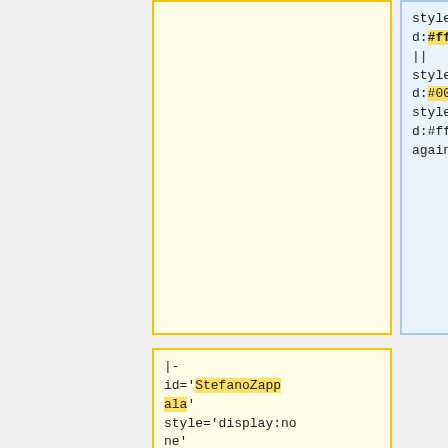style="background:#ffb200" | 33.3 || style="background:#00ff00" | for || style="background:#ff0000" | against
|- id='StefanoZappala' style='display:none'
| [[StefanoZappala|Stefano ZAPPALA']] || style="background:#ffb200" | 33.3 || style="background:#00ff00" | for || style="background:backgro